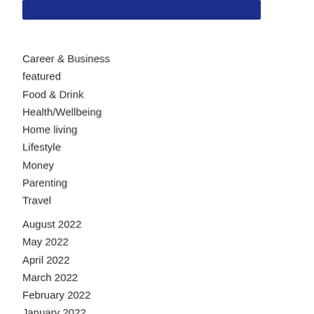[Figure (other): Blue horizontal banner/bar at top of page]
Career & Business
featured
Food & Drink
Health/Wellbeing
Home living
Lifestyle
Money
Parenting
Travel
August 2022
May 2022
April 2022
March 2022
February 2022
January 2022